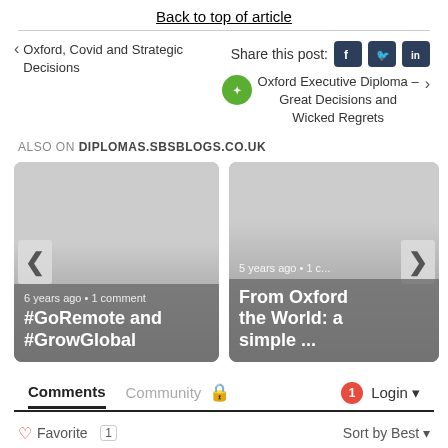Back to top of article
Oxford, Covid and Strategic Decisions
Share this post:
Oxford Executive Diploma – Great Decisions and Wicked Regrets
ALSO ON DIPLOMAS.SBSBLOGS.CO.UK
[Figure (screenshot): Card showing blog post: 6 years ago • 1 comment, #GoRemote and #GrowGlobal]
[Figure (screenshot): Card showing blog post: 5 years ago • 1 c..., From Oxford the World: a simple ...]
Comments
Community
Login
Favorite  1
Sort by Best